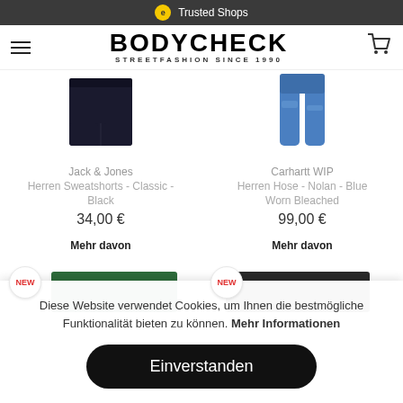Trusted Shops
BODYCHECK STREETFASHION SINCE 1990
Jack & Jones
Herren Sweatshorts - Classic - Black
34,00 €
Mehr davon
Carhartt WIP
Herren Hose - Nolan - Blue Worn Bleached
99,00 €
Mehr davon
[Figure (photo): NEW badge with green product preview]
[Figure (photo): NEW badge with dark product preview]
Diese Website verwendet Cookies, um Ihnen die bestmögliche Funktionalität bieten zu können. Mehr Informationen
Einverstanden